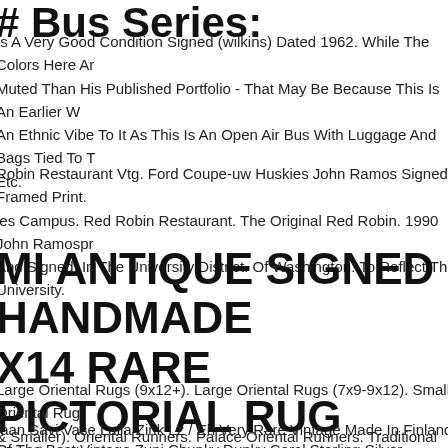# Bus Series
Is A Very Good Condition Signed (wilkins) Dated 1962. While The Colors Here Are Muted Than His Published Portfolio - That May Be Because This Is An Earlier W An Ethnic Vibe To It As This Is An Open Air Bus With Luggage And Bags Tied To T Etc.
Robin Restaurant Vtg. Ford Coupe-uw Huskies John Ramos Signed Framed Print. ies Campus. Red Robin Restaurant. The Original Red Robin. 1990 John Ramospr And Signed. In The University District. Of Washington. To Reflect The University.
MI ANTIQUE SIGNED HANDMADE X14 RARE PICTORIAL RUG ORIENTAL OME DECOR CARPET
Large Oriental Rugs (9x12+). Large Oriental Rugs (7x9-9x12). Small Oriental Rug & Smaller). Oriental Runners. Palace Oriental Runners. Traditional Classic Rug. 5 s Old. Item Number.
taan Savi Vase Laila Zink Lz / Eh Very Rare Vintage Made In Finland Signed. & Ch riends Youtube Channel - !
Of The Best Vintage Zuni Chunky Dunky Coral Sterling Silver Necklace. Click He